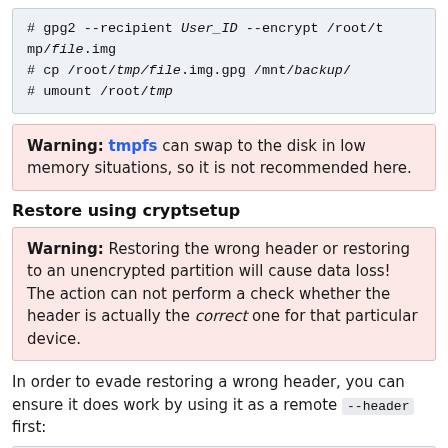# gpg2 --recipient User_ID --encrypt /root/tmp/file.img
# cp /root/tmp/file.img.gpg /mnt/backup/
# umount /root/tmp
Warning: tmpfs can swap to the disk in low memory situations, so it is not recommended here.
Restore using cryptsetup
Warning: Restoring the wrong header or restoring to an unencrypted partition will cause data loss! The action can not perform a check whether the header is actually the correct one for that particular device.
In order to evade restoring a wrong header, you can ensure it does work by using it as a remote --header first:
# cryptsetup -v --header /mnt/backup/file.img open /dev/device test